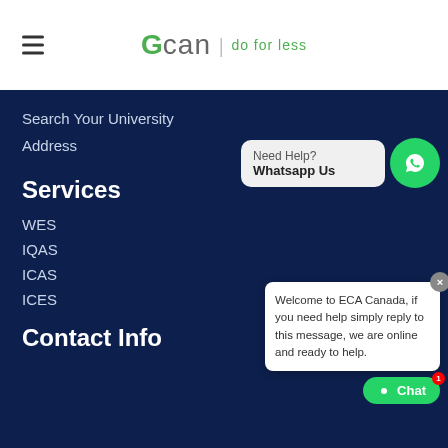[Figure (logo): GCan do for less logo with hamburger menu icon]
Search Your University
Address
[Figure (infographic): Need Help? Whatsapp Us widget with green WhatsApp circle icon]
Services
WES
IQAS
ICAS
ICES
[Figure (screenshot): Chat popup: Welcome to ECA Canada, if you need help simply reply to this message, we are online and ready to help. With close button and Chat button with badge 1.]
Contact Info